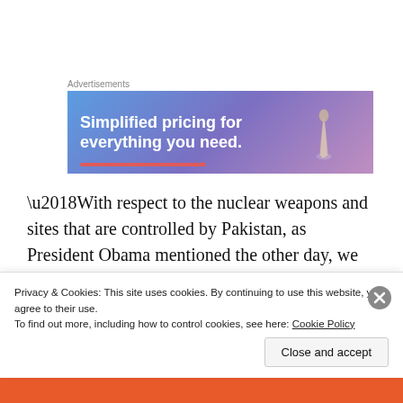Advertisements
[Figure (illustration): Advertisement banner with blue-to-purple gradient background. Text reads 'Simplified pricing for everything you need.' in white bold font. Red accent line at bottom left. Decorative object at right side.]
‘With respect to the nuclear weapons and sites that are controlled by Pakistan, as President Obama mentioned the other day, we have confidence in their security
Privacy & Cookies: This site uses cookies. By continuing to use this website, you agree to their use.
To find out more, including how to control cookies, see here: Cookie Policy
Close and accept